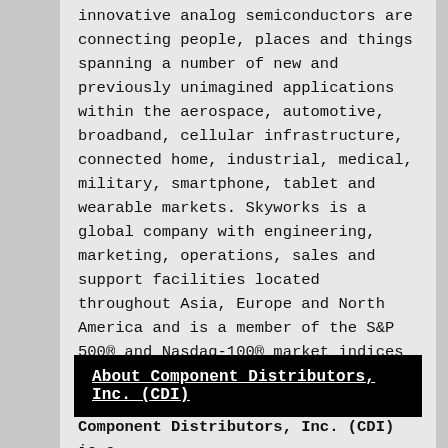innovative analog semiconductors are connecting people, places and things spanning a number of new and previously unimagined applications within the aerospace, automotive, broadband, cellular infrastructure, connected home, industrial, medical, military, smartphone, tablet and wearable markets. Skyworks is a global company with engineering, marketing, operations, sales and support facilities located throughout Asia, Europe and North America and is a member of the S&P 500® and Nasdaq-100® market indices (Nasdaq: SWKS).
About Component Distributors, Inc. (CDI)
Component Distributors, Inc. (CDI) is a